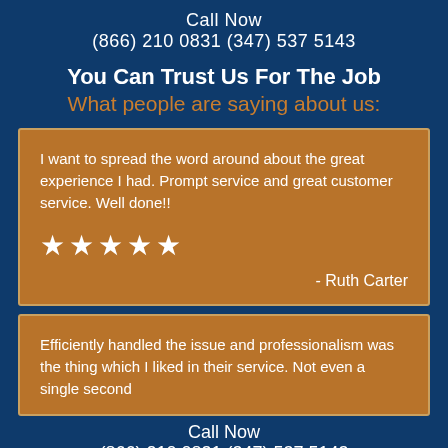Call Now
(866) 210 0831 (347) 537 5143
You Can Trust Us For The Job
What people are saying about us:
I want to spread the word around about the great experience I had. Prompt service and great customer service. Well done!!
★★★★★
- Ruth Carter
Efficiently handled the issue and professionalism was the thing which I liked in their service. Not even a single second
Call Now
(866) 210 0831 (347) 537 5143